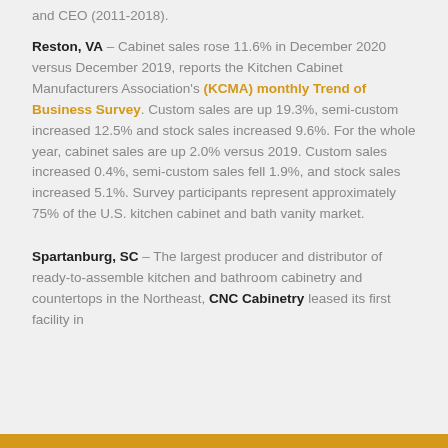and CEO (2011-2018).
Reston, VA – Cabinet sales rose 11.6% in December 2020 versus December 2019, reports the Kitchen Cabinet Manufacturers Association's (KCMA) monthly Trend of Business Survey. Custom sales are up 19.3%, semi-custom increased 12.5% and stock sales increased 9.6%. For the whole year, cabinet sales are up 2.0% versus 2019. Custom sales increased 0.4%, semi-custom sales fell 1.9%, and stock sales increased 5.1%. Survey participants represent approximately 75% of the U.S. kitchen cabinet and bath vanity market.
Spartanburg, SC – The largest producer and distributor of ready-to-assemble kitchen and bathroom cabinetry and countertops in the Northeast, CNC Cabinetry leased its first facility in